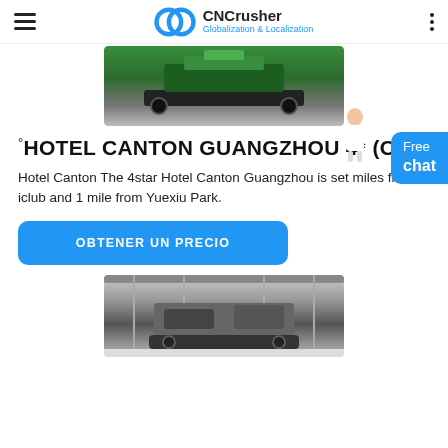CNCrusher Globalization & Localization
[Figure (photo): Green heavy crawler crusher machine outdoors]
°HOTEL CANTON GUANGZHOU 4* (China)
Hotel Canton The 4star Hotel Canton Guangzhou is set miles from iclub and 1 mile from Yuexiu Park.
OBTENER UN PRECIO
[Figure (photo): Heavy industrial crusher machine inside a warehouse/factory hall]